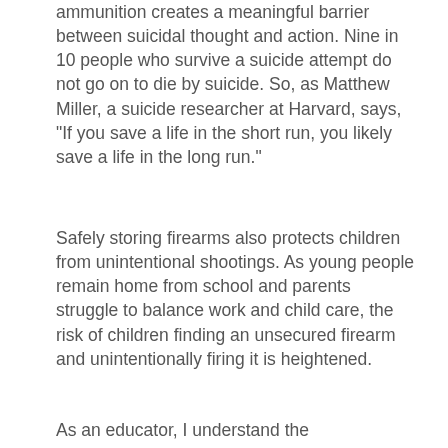unloaded and separate from ammunition creates a meaningful barrier between suicidal thought and action. Nine in 10 people who survive a suicide attempt do not go on to die by suicide. So, as Matthew Miller, a suicide researcher at Harvard, says, "If you save a life in the short run, you likely save a life in the long run."
Safely storing firearms also protects children from unintentional shootings. As young people remain home from school and parents struggle to balance work and child care, the risk of children finding an unsecured firearm and unintentionally firing it is heightened.
As an educator, I understand the